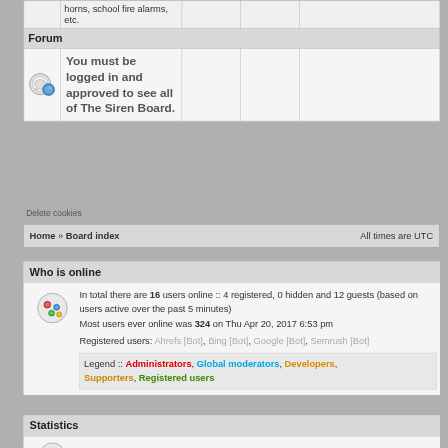|  | Forum |  |  |
| --- | --- | --- | --- |
|  | horns, school fire alarms, etc. |  |  |
| Forum |  |  |  |
| [icon] | You must be logged in and approved to see all of The Siren Board. |  |  |
Delete cookies
Home » Board index   All times are UTC
Who is online
In total there are 16 users online :: 4 registered, 0 hidden and 12 guests (based on users active over the past 5 minutes)
Most users ever online was 324 on Thu Apr 20, 2017 6:53 pm
Registered users: Ahrefs [Bot], Bing [Bot], Google [Bot], Semrush [Bot]
Legend :: Administrators, Global moderators, Developers, Supporters, Registered users
Statistics
Total posts 200888 | Total topics 23504 | Total members 6401 | Our